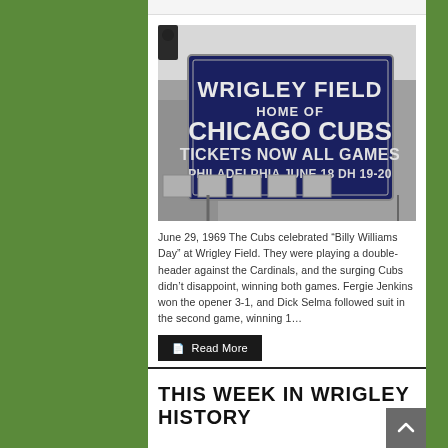[Figure (photo): Black and white photograph of Wrigley Field sign reading 'WRIGLEY FIELD HOME OF CHICAGO CUBS TICKETS NOW ALL GAMES PHILADELPHIA JUNE 18 DH 19-20']
June 29, 1969 The Cubs celebrated “Billy Williams Day” at Wrigley Field. They were playing a double-header against the Cardinals, and the surging Cubs didn’t disappoint, winning both games. Fergie Jenkins won the opener 3-1, and Dick Selma followed suit in the second game, winning 1…
Read More
THIS WEEK IN WRIGLEY HISTORY